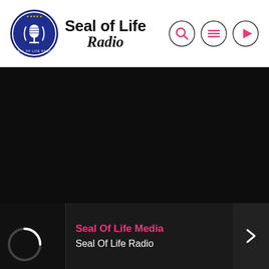[Figure (logo): Seal of Life Radio logo: circular blue badge with microphone icon on left, bold text 'Seal of Life' and italic script 'Radio' on right]
[Figure (other): Navigation icons: search magnifying glass circle, hamburger menu circle, play button circle — all outlined in dark with pink/coral icons]
[Figure (other): Large black/dark background main content area (video or media player area, no visible content)]
[Figure (other): Bottom player bar: dark background with loading spinner thumbnail on left, pink text 'Seal Of Life Media', white text 'Seal Of Life Radio', right arrow chevron on right]